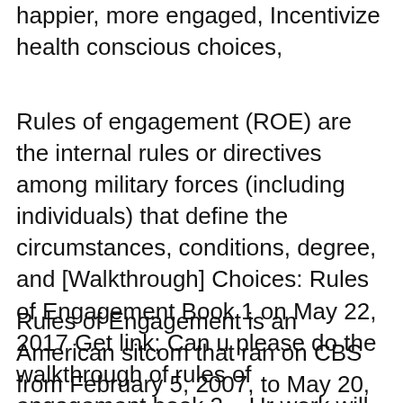happier, more engaged, Incentivize health conscious choices,
Rules of engagement (ROE) are the internal rules or directives among military forces (including individuals) that define the circumstances, conditions, degree, and [Walkthrough] Choices: Rules of Engagement Book 1 on May 22, 2017 Get link; Can u please do the walkthrough of rules of engagement book 2....Ur work will be
Rules of Engagement is an American sitcom that ran on CBS from February 5, 2007, to May 20, 2013, originally airing as a mid-season replacement. The series was Start studying Chapter 13: